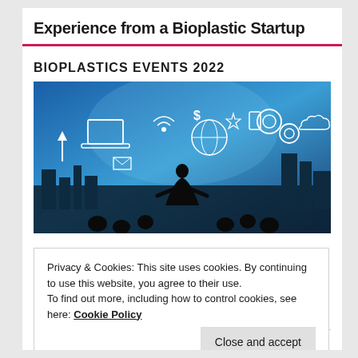Experience from a Bioplastic Startup
BIOPLASTICS EVENTS 2022
[Figure (photo): Person silhouetted against a glowing blue background filled with technology and business icons including laptop, gears, WiFi, globe, currency symbols, and city skyline — representing a tech/business presentation scene.]
Privacy & Cookies: This site uses cookies. By continuing to use this website, you agree to their use.
To find out more, including how to control cookies, see here: Cookie Policy
Close and accept
READ FREE ARTICLES